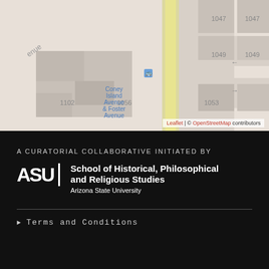[Figure (map): OpenStreetMap street map showing intersection area with building outlines. Labels visible: 'enue' (partial street name), 'Coney Island Avenue & Foster Avenue' (bus stop marker), '1047', '1049', '1056', '1102', '1053'. Yellow road (Coney Island Avenue) runs vertically. Gray building footprints visible.]
Leaflet | © OpenStreetMap contributors
A CURATORIAL COLLABORATIVE INITIATED BY
[Figure (logo): ASU School of Historical, Philosophical and Religious Studies, Arizona State University logo — white text on black background. Shows 'ASU' in large bold letters with fork divider, followed by 'School of Historical, Philosophical and Religious Studies' in bold and 'Arizona State University' below.]
▶ Terms and Conditions